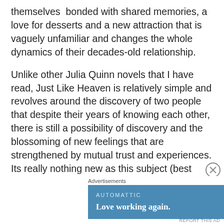themselves  bonded with shared memories, a love for desserts and a new attraction that is vaguely unfamiliar and changes the whole dynamics of their decades-old relationship.
Unlike other Julia Quinn novels that I have read, Just Like Heaven is relatively simple and revolves around the discovery of two people that despite their years of knowing each other, there is still a possibility of discovery and the blossoming of new feelings that are strengthened by mutual trust and experiences. Its really nothing new as this subject (best friend falls for sister) has been utilized quite a lot of times by many different authors before. The plot remains effective because it is releatable to the readers. Heck, I, for one have devoured at least a dozen titles with the same
Advertisements
[Figure (infographic): Advertisement banner: Automattic logo text, tagline 'Love working again.' on blue background]